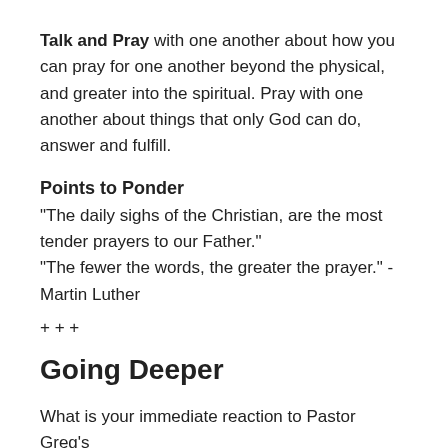Talk and Pray with one another about how you can pray for one another beyond the physical, and greater into the spiritual. Pray with one another about things that only God can do, answer and fulfill.
Points to Ponder
“The daily sighs of the Christian, are the most tender prayers to our Father.”
“The fewer the words, the greater the prayer.” -Martin Luther
+ + +
Going Deeper
What is your immediate reaction to Pastor Greg’s